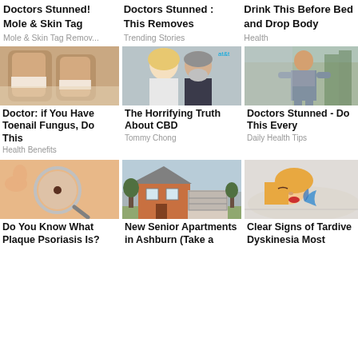Doctors Stunned! Mole & Skin Tag
Mole & Skin Tag Remov...
Doctors Stunned : This Removes
Trending Stories
Drink This Before Bed and Drop Body
Health
[Figure (photo): Close-up of toenails with fungal infection treatment]
Doctor: if You Have Toenail Fungus, Do This
Health Benefits
[Figure (photo): Couple smiling at event — blonde woman and older bearded man]
The Horrifying Truth About CBD
Tommy Chong
[Figure (photo): Woman in gray t-shirt standing outdoors]
Doctors Stunned - Do This Every
Daily Health Tips
[Figure (photo): Magnifying glass over skin mole]
Do You Know What Plaque Psoriasis Is?
[Figure (photo): Two-story brick and stucco house]
New Senior Apartments in Ashburn (Take a
[Figure (illustration): Illustration of woman sleeping with a blue star shape near mouth]
Clear Signs of Tardive Dyskinesia Most